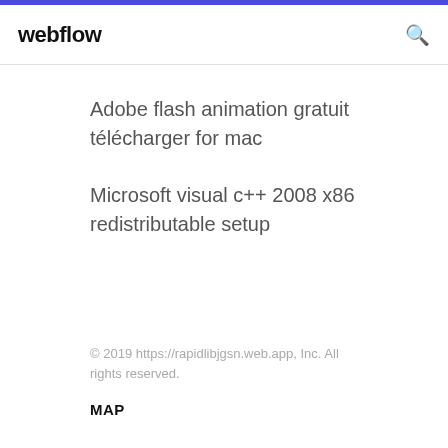webflow
Adobe flash animation gratuit télécharger for mac
Microsoft visual c++ 2008 x86 redistributable setup
© 2019 https://rapidlibjgsn.web.app, Inc. All rights reserved.
MAP